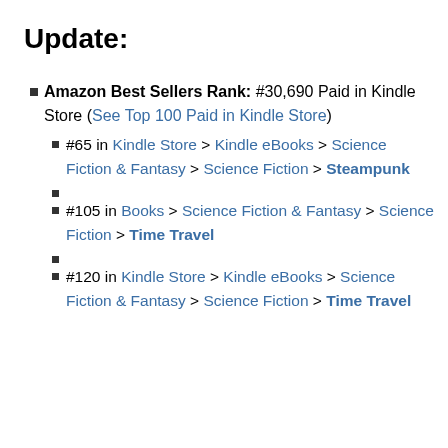Update:
Amazon Best Sellers Rank: #30,690 Paid in Kindle Store (See Top 100 Paid in Kindle Store)
#65 in Kindle Store > Kindle eBooks > Science Fiction & Fantasy > Science Fiction > Steampunk
#105 in Books > Science Fiction & Fantasy > Science Fiction > Time Travel
#120 in Kindle Store > Kindle eBooks > Science Fiction & Fantasy > Science Fiction > Time Travel